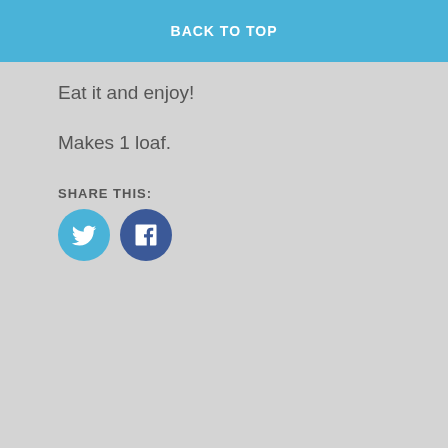Run knife of metal spatula around sides of loaf to loosen;remove from pan.
BACK TO TOP
Eat it and enjoy!
Makes 1 loaf.
SHARE THIS:
[Figure (other): Twitter and Facebook share icon buttons (circles)]
2 bloggers like this.
RELATED
Blueberry & Banana Protein Pancakes
April 1, 2016
In "Nutrition"